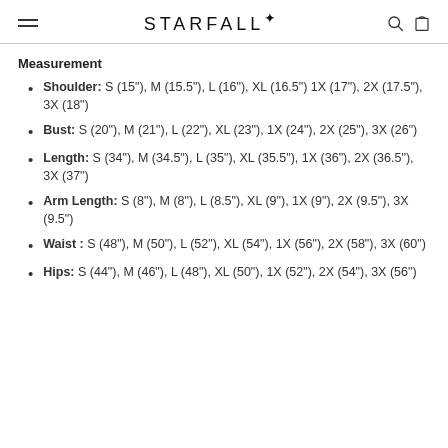STARFALL
Measurement
Shoulder: S (15"), M (15.5"), L (16"), XL (16.5") 1X (17"), 2X (17.5"), 3X (18")
Bust: S (20"), M (21"), L (22"), XL (23"), 1X (24"), 2X (25"), 3X (26")
Length: S (34"), M (34.5"), L (35"), XL (35.5"), 1X (36"), 2X (36.5"), 3X (37")
Arm Length: S (8"), M (8"), L (8.5"), XL (9"), 1X (9"), 2X (9.5"), 3X (9.5")
Waist : S (48"), M (50"), L (52"), XL (54"), 1X (56"), 2X (58"), 3X (60")
Hips: S (44"), M (46"), L (48"), XL (50"), 1X (52"), 2X (54"), 3X (56")